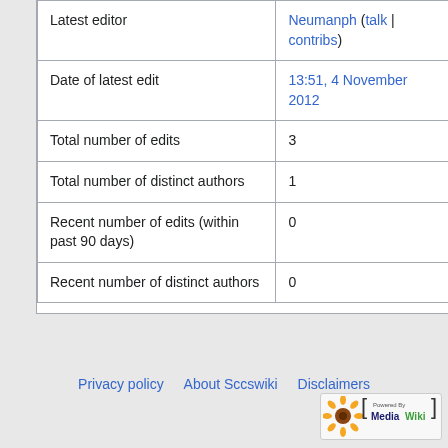|  |  |
| --- | --- |
| Latest editor | Neumanph (talk | contribs) |
| Date of latest edit | 13:51, 4 November 2012 |
| Total number of edits | 3 |
| Total number of distinct authors | 1 |
| Recent number of edits (within past 90 days) | 0 |
| Recent number of distinct authors | 0 |
Privacy policy   About Sccswiki   Disclaimers